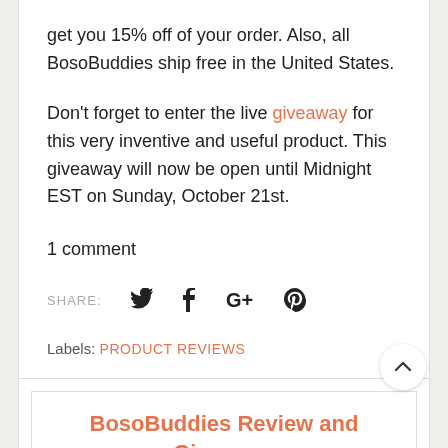get you 15% off of your order. Also, all BosoBuddies ship free in the United States.
Don't forget to enter the live giveaway for this very inventive and useful product. This giveaway will now be open until Midnight EST on Sunday, October 21st.
1 comment
SHARE: [Twitter] [Facebook] [Google+] [Pinterest]
Labels: PRODUCT REVIEWS
BosoBuddies Review and Giveaway